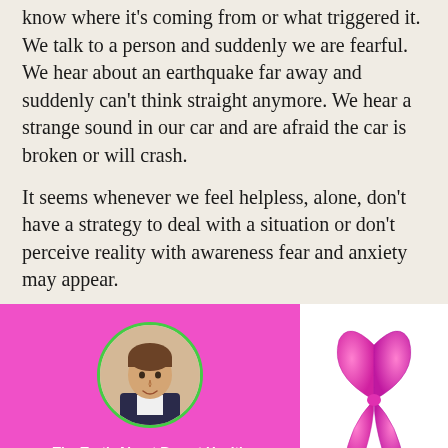know where it's coming from or what triggered it. We talk to a person and suddenly we are fearful. We hear about an earthquake far away and suddenly can't think straight anymore. We hear a strange sound in our car and are afraid the car is broken or will crash.
It seems whenever we feel helpless, alone, don't have a strategy to deal with a situation or don't perceive reality with awareness fear and anxiety may appear.
[Figure (photo): Pink promotional banner for 'The Truth About Breast Health' featuring a circular photo of Johannes R. Fisslinger with a green border, text reads 'The Truth About Breast Health with Johannes R. Fisslinger, Founder Lifestyle Prescriptions University']
[Figure (illustration): Pink breast cancer awareness ribbon on white background]